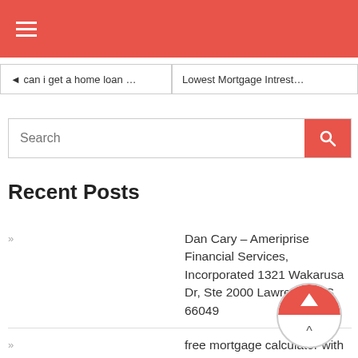☰
◄ can i get a home loan …
Lowest Mortgage Intrest…
Search
Recent Posts
Dan Cary – Ameriprise Financial Services, Incorporated 1321 Wakarusa Dr, Ste 2000 Lawrence, KS 66049
free mortgage calculator with taxes
Riverside National Bank 1238 US-1 Vero Beach, FL 3296…
Home Equity Loans Vs Line Of Credit
investment home interest rates